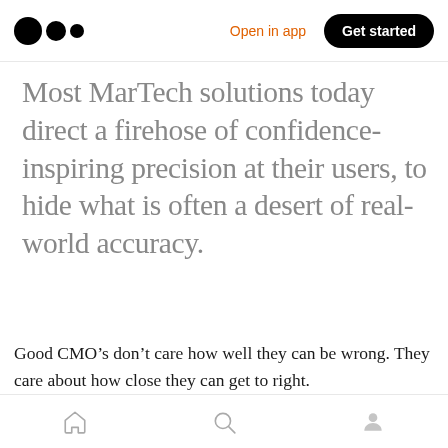Open in app | Get started
Most MarTech solutions today direct a firehose of confidence-inspiring precision at their users, to hide what is often a desert of real-world accuracy.
Good CMO’s don’t care how well they can be wrong. They care about how close they can get to right.
Home | Search | Profile